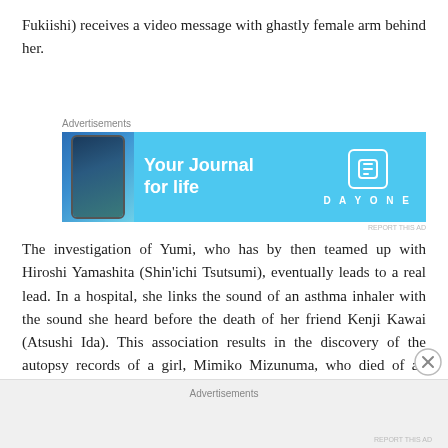Fukiishi) receives a video message with ghastly female arm behind her.
[Figure (other): Advertisement banner for Day One journal app with blue background, phone graphic, and text 'Your Journal for life']
The investigation of Yumi, who has by then teamed up with Hiroshi Yamashita (Shin'ichi Tsutsumi), eventually leads to a real lead. In a hospital, she links the sound of an asthma inhaler with the sound she heard before the death of her friend Kenji Kawai (Atsushi Ida). This association results in the discovery of the autopsy records of a girl, Mimiko Mizunuma, who died of an asthma attack at the age of ten. Also there is no way to
[Figure (other): Bottom advertisement placeholder area with gray background]